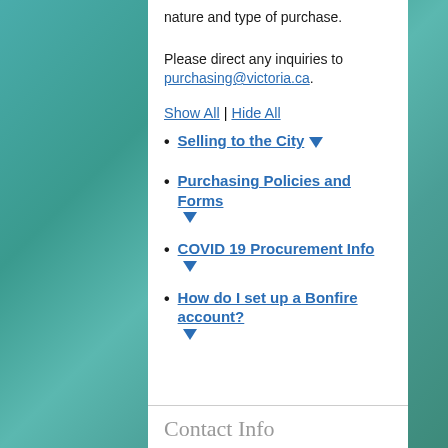nature and type of purchase.
Please direct any inquiries to purchasing@victoria.ca.
Show All | Hide All
Selling to the City ▼
Purchasing Policies and Forms ▼
COVID 19 Procurement Info ▼
How do I set up a Bonfire account? ▼
Contact Info